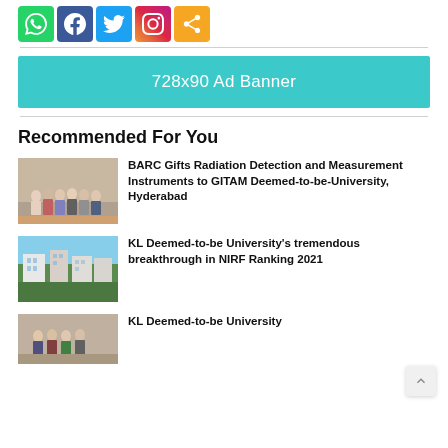[Figure (other): Social sharing icons: WhatsApp (green), Facebook (blue), Twitter (light blue), Instagram (gradient), Share (orange)]
[Figure (other): 728x90 Ad Banner placeholder in teal/cyan color]
Recommended For You
[Figure (photo): Group of people standing in a room, appearing to be at an institutional event]
BARC Gifts Radiation Detection and Measurement Instruments to GITAM Deemed-to-be-University, Hyderabad
[Figure (photo): Aerial view of a university campus with buildings and greenery]
KL Deemed-to-be University's tremendous breakthrough in NIRF Ranking 2021
[Figure (photo): Group photo at KL Deemed-to-be University event]
KL Deemed-to-be University